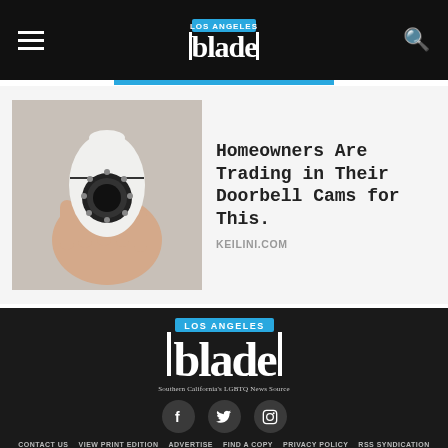Los Angeles Blade
[Figure (photo): Hand holding a small white security camera]
Homeowners Are Trading in Their Doorbell Cams for This.
KEILINI.COM
[Figure (logo): Los Angeles Blade logo — Southern California's LGBTQ News Source]
CONTACT US   VIEW PRINT EDITION   ADVERTISE   FIND A COPY   PRIVACY POLICY   RSS SYNDICATION